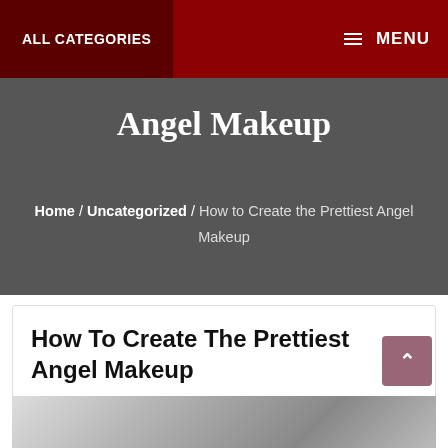ALL CATEGORIES   MENU
Angel Makeup
Home / Uncategorized / How to Create the Prettiest Angel Makeup
How To Create The Prettiest Angel Makeup
admin   Uncategorized   Comments Off   #arizafly , #designerplanet , Angelic eyes Makeup , Best Angelic Make-up , How to create angelic makeup , How to Create the Prettiest Angel Makeup
[Figure (photo): Bottom strip of a photo, partially visible, appears to be a makeup or beauty related image]